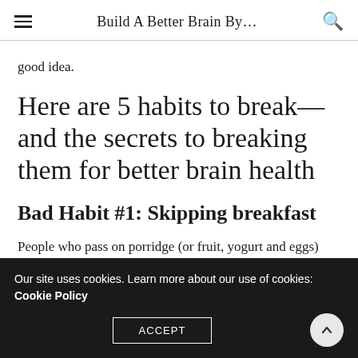Build A Better Brain By...
good idea.
Here are 5 habits to break—and the secrets to breaking them for better brain health
Bad Habit #1: Skipping breakfast
People who pass on porridge (or fruit, yogurt and eggs)
Our site uses cookies. Learn more about our use of cookies: Cookie Policy